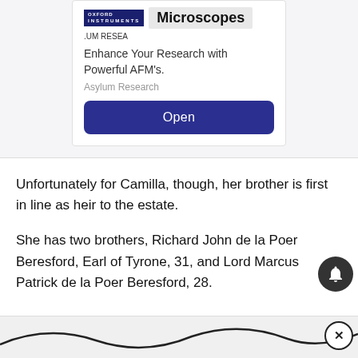[Figure (screenshot): Advertisement card for Oxford Instruments / Asylum Research showing 'Microscopes' heading, 'Enhance Your Research with Powerful AFM’s.' tagline, 'Asylum Research' company name, and an 'Open' button.]
Unfortunately for Camilla, though, her brother is first in line as heir to the estate.
She has two brothers, Richard John de la Poer Beresford, Earl of Tyrone, 31, and Lord Marcus Patrick de la Poer Beresford, 28.